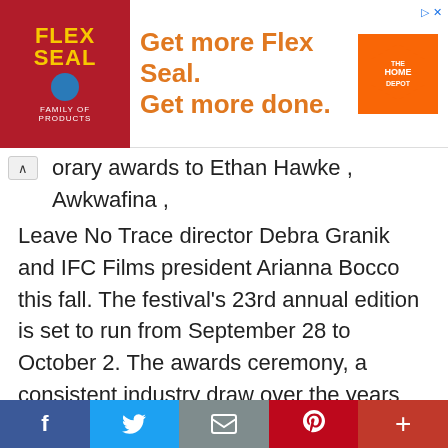[Figure (other): Flex Seal and Home Depot advertisement banner with orange text 'Get more Flex Seal. Get more done.']
orary awards to Ethan Hawke , Awkwafina , Leave No Trace director Debra Granik and IFC Films president Arianna Bocco this fall. The festival's 23rd annual edition is set to run from September 28 to October 2. The awards ceremony, a consistent industry draw over the years given the fest's location two hours north of New York City, is also set to feature appearances by actresses Amanda Seyfried and Vera Farmiga as well as filmmaker Marina Zenovich. Hawke is receiving Woodstock's Maverick Award, which goes to “a leader and a
[Figure (other): Social media sharing bar with Facebook, Twitter, Email, Pinterest, and More buttons]